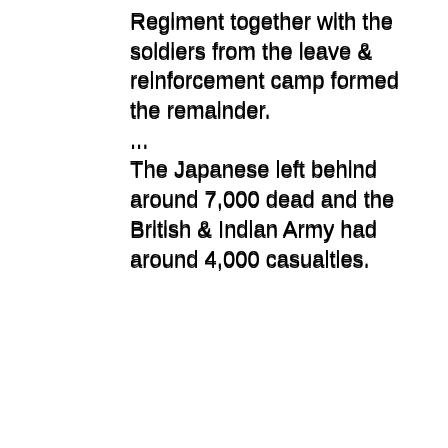Regiment together with the soldiers from the leave & reinforcement camp formed the remainder.
...
The Japanese left behind around 7,000 dead and the British & Indian Army had around 4,000 casualties.
In the aftermath of the battle it has been said that there have been longer sieges but there have been fewer that were bloodier.
This was a battle in which everyone took part. There were no onlookers and the fighting was hand to hand for the most part. No-one was spared and 2 more Brigadiers were killed as